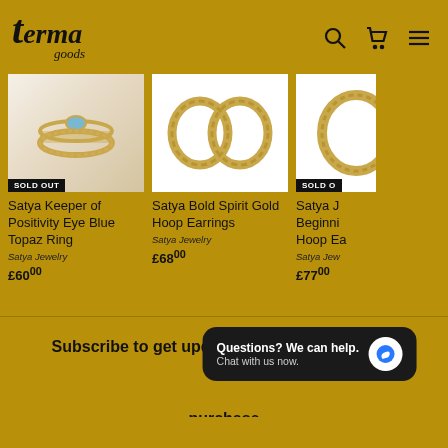terma goods — navigation header with search, cart, and menu icons
[Figure (photo): Product photo of Satya Keeper of Positivity Eye Blue Topaz Ring — gold ring with blue gem, white background, SOLD OUT badge]
SOLD OUT
Satya Keeper of Positivity Eye Blue Topaz Ring
Satya Jewelry
£60.00
[Figure (photo): Product photo of Satya Bold Spirit Gold Hoop Earrings — gold hoop earrings on white background]
Satya Bold Spirit Gold Hoop Earrings
Satya Jewelry
£68.00
[Figure (photo): Product photo (partially clipped) of Satya J... Beginni... Hoop Ea... — SOLD OUT badge]
SOLD OUT
Satya J...
Beginni...
Hoop Ea...
Satya Jew...
£77.00
Subscribe to get updates & save on your first purchase
Questions? We can help. Chat with us now.